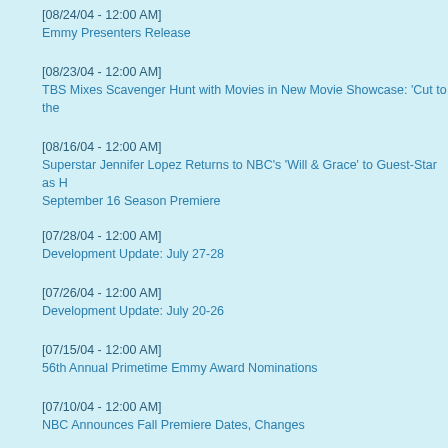[08/24/04 - 12:00 AM]
Emmy Presenters Release
[08/23/04 - 12:00 AM]
TBS Mixes Scavenger Hunt with Movies in New Movie Showcase: 'Cut to the...
[08/16/04 - 12:00 AM]
Superstar Jennifer Lopez Returns to NBC's 'Will & Grace' to Guest-Star as H... September 16 Season Premiere
[07/28/04 - 12:00 AM]
Development Update: July 27-28
[07/26/04 - 12:00 AM]
Development Update: July 20-26
[07/15/04 - 12:00 AM]
56th Annual Primetime Emmy Award Nominations
[07/10/04 - 12:00 AM]
NBC Announces Fall Premiere Dates, Changes
[06/30/04 - 12:00 AM]
Cahill, Albrecht Latest 'C.S.I.: New York' Additions
[06/16/04 - 12:00 AM]